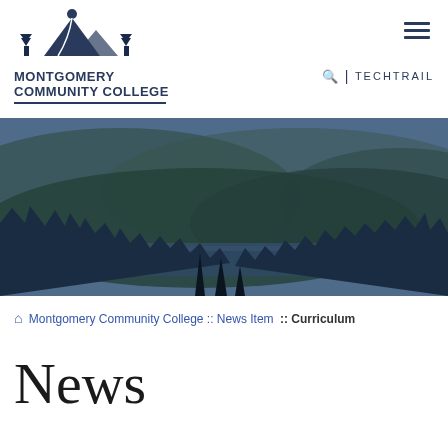Montgomery Community College | TECHTRAIL
[Figure (photo): Aerial landscape photo showing rolling green forested hills, a lake or river in the middle distance, and a treeline silhouette with pine trees in the foreground, overlaid with a blue tint. Used as a hero banner image for Montgomery Community College website.]
🏠 Montgomery Community College :: News Item :: Curriculum
News